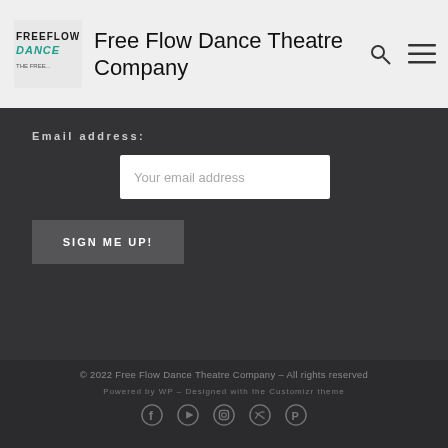Free Flow Dance Theatre Company
Email address:
Your email address
SIGN ME UP!
© 2022 Free Flow Dance Theatre Company – All rights reserved
Powered by WP – Designed with the Customizr theme